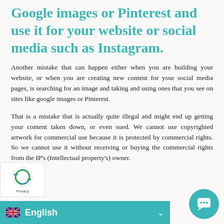Google images or Pinterest and use it for your website or social media such as Instagram.
Another mistake that can happen either when you are building your website, or when you are creating new content for your social media pages, is searching for an image and taking and using ones that you see on sites like google images or Pinterest.
That is a mistake that is actually quite illegal and might end up getting your content taken down, or even sued. We cannot use copyrighted artwork for commercial use because it is protected by commercial rights. So we cannot use it without receiving or buying the commercial rights from the IP's (Intellectual property's) owner.
English